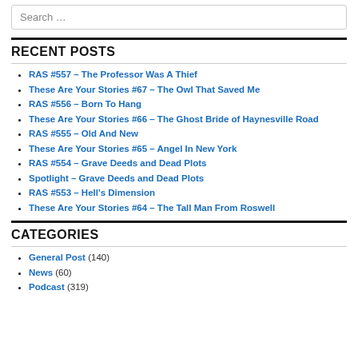Search …
RECENT POSTS
RAS #557 – The Professor Was A Thief
These Are Your Stories #67 – The Owl That Saved Me
RAS #556 – Born To Hang
These Are Your Stories #66 – The Ghost Bride of Haynesville Road
RAS #555 – Old And New
These Are Your Stories #65 – Angel In New York
RAS #554 – Grave Deeds and Dead Plots
Spotlight – Grave Deeds and Dead Plots
RAS #553 – Hell's Dimension
These Are Your Stories #64 – The Tall Man From Roswell
CATEGORIES
General Post (140)
News (60)
Podcast (319)